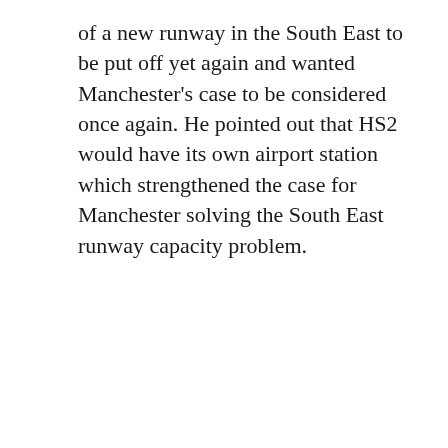of a new runway in the South East to be put off yet again and wanted Manchester's case to be considered once again. He pointed out that HS2 would have its own airport station which strengthened the case for Manchester solving the South East runway capacity problem.